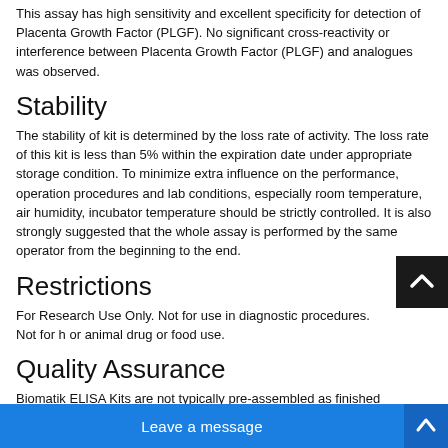This assay has high sensitivity and excellent specificity for detection of Placenta Growth Factor (PLGF). No significant cross-reactivity or interference between Placenta Growth Factor (PLGF) and analogues was observed.
Stability
The stability of kit is determined by the loss rate of activity. The loss rate of this kit is less than 5% within the expiration date under appropriate storage condition. To minimize extra influence on the performance, operation procedures and lab conditions, especially room temperature, air humidity, incubator temperature should be strictly controlled. It is also strongly suggested that the whole assay is performed by the same operator from the beginning to the end.
Restrictions
For Research Use Only. Not for use in diagnostic procedures. Not for h or animal drug or food use.
Quality Assurance
Biomatik ELISA Kits are not typically pre-assembled as finished products due to limited shelf life. Before shipping, each kit is assembled and tested to ensure that it meets specifications before shipping. Minor changes may occur to the Detection Range, Sensitivity, and Precision. All kits are tested to confirm that they fall within their